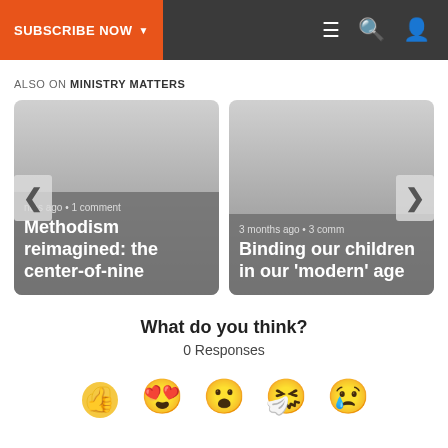SUBSCRIBE NOW | Navigation icons: menu, search, user
ALSO ON MINISTRY MATTERS
[Figure (screenshot): Two article cards in a carousel. Left card: 'nths ago • 1 comment' / 'Methodism reimagined: the center-of-nine'. Right card: '3 months ago • 3 comm' / 'Binding our children in our 'modern' age'. Left arrow and right arrow navigation buttons visible.]
What do you think?
0 Responses
[Figure (infographic): Five reaction emojis in a row: thumbs up, heart eyes, surprised/wow face, crying/sad face, sad with tear face.]